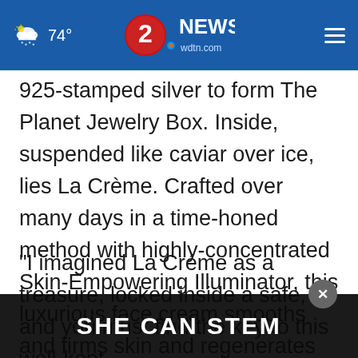74° | 2 News wdtn.com
925-stamped silver to form The Planet Jewelry Box. Inside, suspended like caviar over ice, lies La Crème. Crafted over many days in a time-honed method with highly-concentrated Skin-Empowering Illuminator, this luxurious face cream smooths and firms skin and regenerates natural beauty.
"I imagined La Créme as a treasure, locked inside a safe, and you must find the key to this well-kept
[Figure (screenshot): Advertisement banner at bottom: dark background with white bold text 'SHE CAN STEM' and a close (X) button]